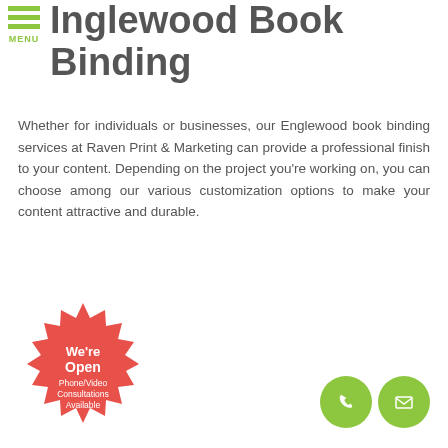Englewood Book Binding
Whether for individuals or businesses, our Englewood book binding services at Raven Print & Marketing can provide a professional finish to your content. Depending on the project you're working on, you can choose among our various customization options to make your content attractive and durable.
[Figure (illustration): Red starburst badge with text: We're Open, Phone/Video Consultations Available]
[Figure (illustration): Two green circular contact icons: phone and email]